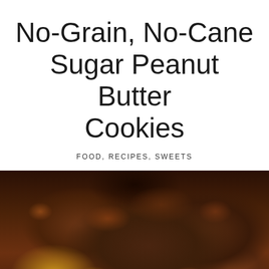No-Grain, No-Cane Sugar Peanut Butter Cookies
FOOD, RECIPES, SWEETS
[Figure (photo): Close-up photo of dark chocolate peanut butter cookies, broken into pieces, mixed with lighter-colored crumbled cookies, arranged on a surface.]